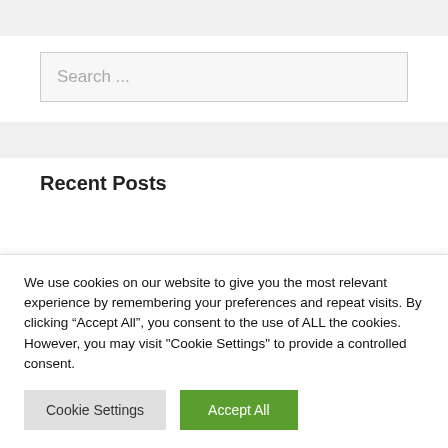[Figure (screenshot): Top gray navigation/header bar of a website]
[Figure (screenshot): Search input box with placeholder text 'Search ...']
[Figure (screenshot): Mid-page gray separator bar]
Recent Posts
We use cookies on our website to give you the most relevant experience by remembering your preferences and repeat visits. By clicking “Accept All”, you consent to the use of ALL the cookies. However, you may visit "Cookie Settings" to provide a controlled consent.